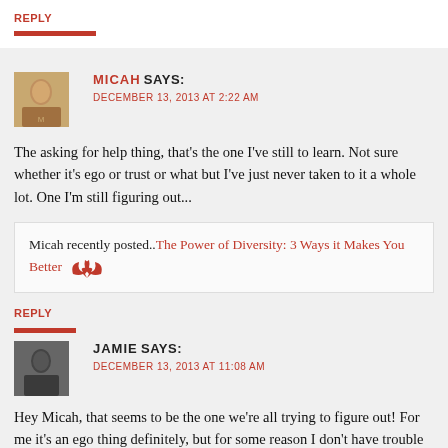REPLY
MICAH SAYS: DECEMBER 13, 2013 AT 2:22 AM
The asking for help thing, that's the one I've still to learn. Not sure whether it's ego or trust or what but I've just never taken to it a whole lot. One I'm still figuring out...
Micah recently posted.. The Power of Diversity: 3 Ways it Makes You Better
REPLY
JAMIE SAYS: DECEMBER 13, 2013 AT 11:08 AM
Hey Micah, that seems to be the one we're all trying to figure out! For me it's an ego thing definitely, but for some reason I don't have trouble asking people to lend me